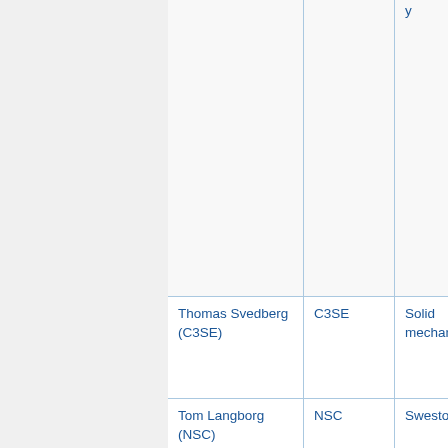| Name | Organization | Area |
| --- | --- | --- |
|  |  | y |
| Thomas Svedberg (C3SE) | C3SE | Solid mechanics |
| Tom Langborg (NSC) | NSC | Swestore |
| Torben Rasmussen | NSC | Computational |